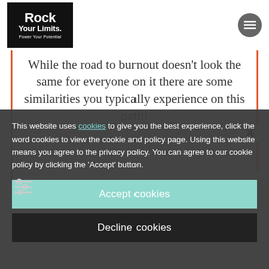[Figure (logo): Rock Your Limits logo with black background, white text reading Rock and Your Limits, tagline Power Your Potential]
[Figure (other): Circular hamburger menu button with three horizontal lines]
While the road to burnout doesn't look the same for everyone on it there are some similarities you typically experience on this path!
This website uses cookies to give you the best experience, click the word cookies to view the cookie and policy page. Using this website means you agree to the privacy policy. You can agree to our cookie policy by clicking the 'Accept' button.
Accept cookies
Decline cookies